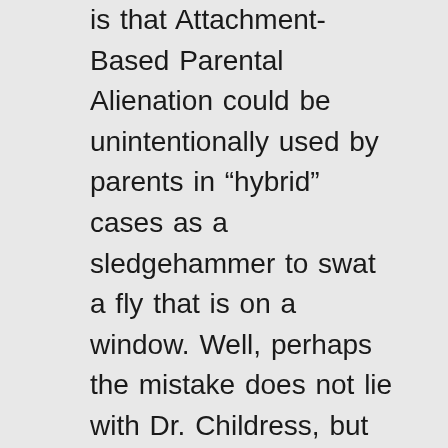is that Attachment-Based Parental Alienation could be unintentionally used by parents in “hybrid” cases as a sledgehammer to swat a fly that is on a window. Well, perhaps the mistake does not lie with Dr. Childress, but with Dr. Gardner who provided a model of PA that was too broad to begin with. Perhaps these “hybrid” cases are only labelled as PA today because PAS was too inclusive. You can’t hold back a cure for A just because a well-meaning doctor carelessly diagnosed people who actually have B and C as having A. If a person can do the mental gymnastics necessary to